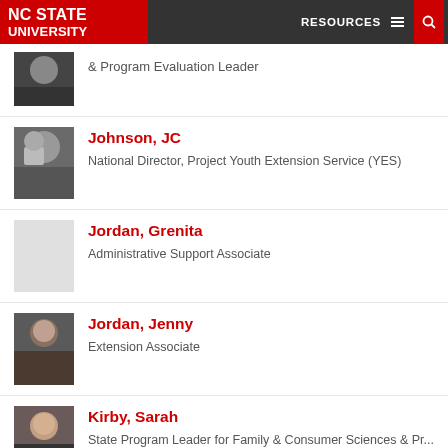NC STATE UNIVERSITY — RESOURCES
& Program Evaluation Leader
[Figure (photo): Partial headshot of a man in a suit and tie]
Johnson, JC
National Director, Project Youth Extension Service (YES)
[Figure (photo): Headshot of a middle-aged man with grey beard]
Jordan, Grenita
Administrative Support Associate
[Figure (photo): Grey/blank placeholder image]
Jordan, Jenny
Extension Associate
[Figure (photo): Headshot of a woman with dark hair, smiling]
Kirby, Sarah
State Program Leader for Family & Consumer Sciences & Pr...
[Figure (photo): Headshot of a blonde woman in an office setting]